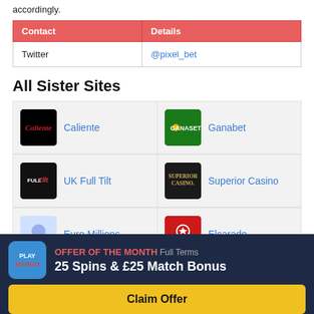accordingly.
| Contact | Details |
| --- | --- |
| Twitter | @pixel_bet |
All Sister Sites
[Figure (illustration): Grid of sister sites with logos: Caliente, Ganabet, UK Full Tilt, Superior Casino, Euro Millions, Elcarado]
OFFER OF THE MONTH Full Terms
25 Spins & £25 Match Bonus
Claim Offer